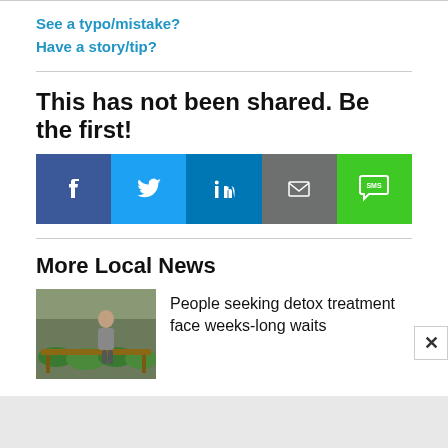See a typo/mistake?
Have a story/tip?
This has not been shared. Be the first!
[Figure (infographic): Social share buttons: Facebook (blue), Twitter (light blue), LinkedIn (dark blue), Email (gray), SMS (green)]
More Local News
[Figure (photo): Photo of a woman in a greenhouse with green plants and lettuce]
People seeking detox treatment face weeks-long waits